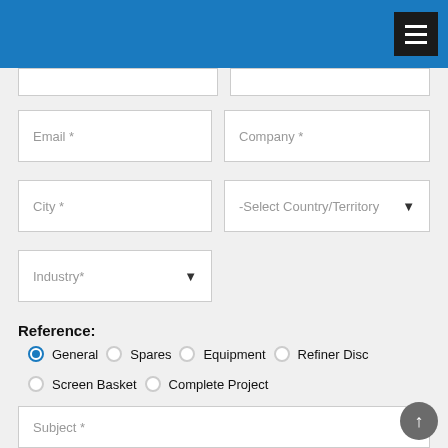Navigation menu header bar
Email *
Company *
City *
-Select Country/Territory
Industry*
Reference:
General (selected), Spares, Equipment, Refiner Disc
Screen Basket, Complete Project
Subject *